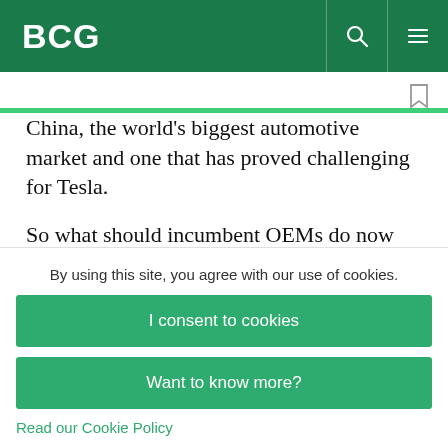BCG
China, the world’s biggest automotive market and one that has proved challenging for Tesla.
So what should incumbent OEMs do now that Tesla is riding up against their bumpers? They should start by reviewing their own product
By using this site, you agree with our use of cookies.
I consent to cookies
Want to know more?
Read our Cookie Policy